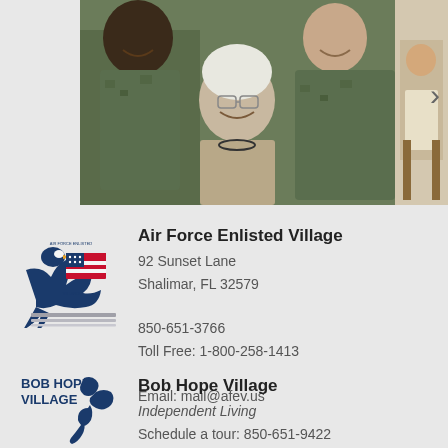[Figure (photo): Two military personnel in camouflage uniforms posing with an elderly woman with white hair and glasses, smiling. A partially visible second photo appears to the right.]
Air Force Enlisted Village
92 Sunset Lane
Shalimar, FL 32579

850-651-3766
Toll Free: 1-800-258-1413

Email: mail@afev.us
Bob Hope Village
Independent Living
Schedule a tour: 850-651-9422